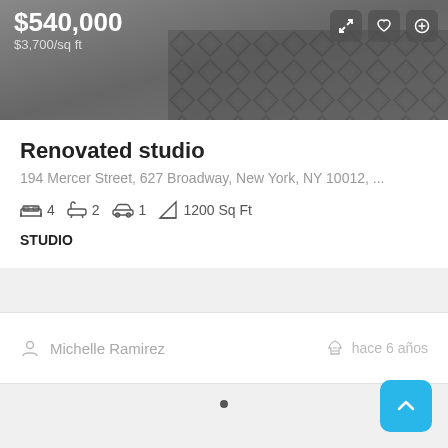[Figure (screenshot): Property listing photo showing a room with a patterned carpet/rug, overlaid with price $540,000 and $3,700/sq ft, plus action icon buttons]
Renovated studio
194 Mercer Street, 627 Broadway, New York, NY 10012, ...
4 beds  2 baths  1 garage  1200 Sq Ft
STUDIO
Michelle Ramirez   hace 6 años